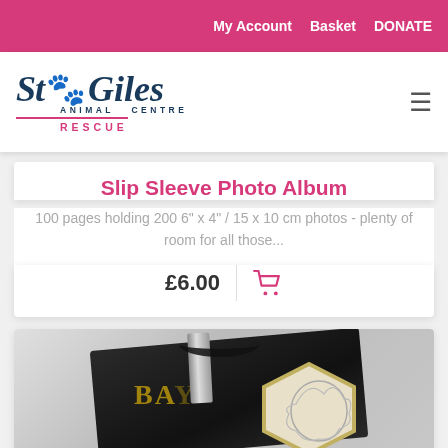My Account  Basket  DONATE
[Figure (logo): St Giles Animal Centre Rescue logo with paw print]
Slip Sleeve Photo Album
100 pages holding 200 6" x 4" / 15 x 10 cm photos - plenty of room for all those...
£6.00
[Figure (photo): Product photo showing a Baylis branded item with black lanyard and a decorative lion medallion]